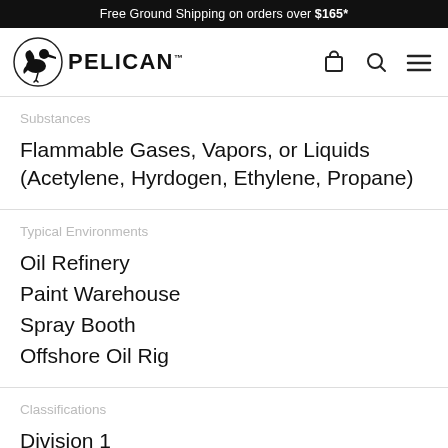Free Ground Shipping on orders over $165*
[Figure (logo): Pelican brand logo with pelican bird icon and PELICAN text]
Substances
Flammable Gases, Vapors, or Liquids (Acetylene, Hyrdogen, Ethylene, Propane)
Typical Environments
Oil Refinery
Paint Warehouse
Spray Booth
Offshore Oil Rig
Classifications
Division 1